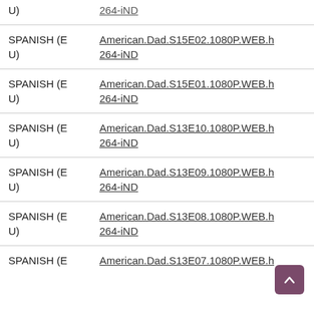| Language | File |
| --- | --- |
| SPANISH (EU) | American.Dad.S15E02.1080P.WEB.h264-iND |
| SPANISH (EU) | American.Dad.S15E01.1080P.WEB.h264-iND |
| SPANISH (EU) | American.Dad.S13E10.1080P.WEB.h264-iND |
| SPANISH (EU) | American.Dad.S13E09.1080P.WEB.h264-iND |
| SPANISH (EU) | American.Dad.S13E08.1080P.WEB.h264-iND |
| SPANISH (E | American.Dad.S13E07.1080P.WEB.h |